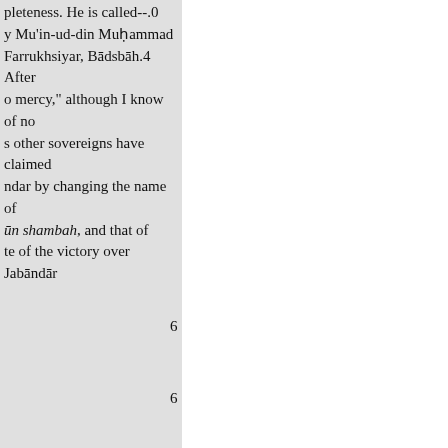pleteness. He is called--.0 y Mu'in-ud-din Muḥammad Farrukhsiyar, Bādsbāh.4 After o mercy," although I know of no s other sovereigns have claimed ndar by changing the name of ūn shambah, and that of te of the victory over Jabāndār
6
6